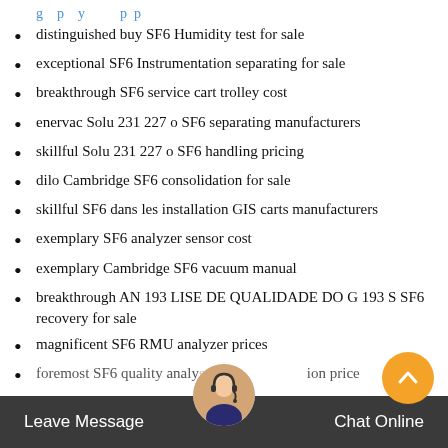distinguished buy SF6 Humidity test for sale
exceptional SF6 Instrumentation separating for sale
breakthrough SF6 service cart trolley cost
enervac Solu 231 227 o SF6 separating manufacturers
skillful Solu 231 227 o SF6 handling pricing
dilo Cambridge SF6 consolidation for sale
skillful SF6 dans les installation GIS carts manufacturers
exemplary SF6 analyzer sensor cost
exemplary Cambridge SF6 vacuum manual
breakthrough AN 193 LISE DE QUALIDADE DO G 193 S SF6 recovery for sale
magnificent SF6 RMU analyzer prices
foremost SF6 quality analysis on price
good EMT SF6 cycle for sale
Leave Message   Chat Online